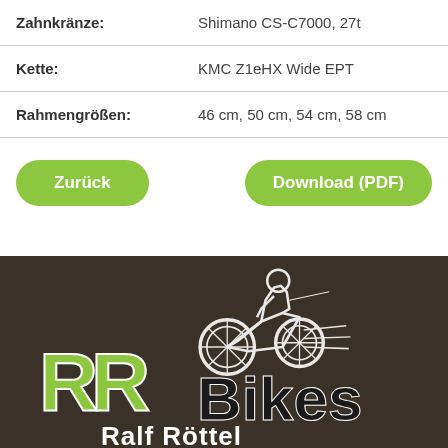| Zahnkränze: | Shimano CS-C7000, 27t |
| Kette: | KMC Z1eHX Wide EPT |
| Rahmengrößen: | 46 cm, 50 cm, 54 cm, 58 cm |
Zurück
Download (PDF)
[Figure (logo): RR Bikes Ralf Röttel logo on dark brown background with motocross rider illustration]